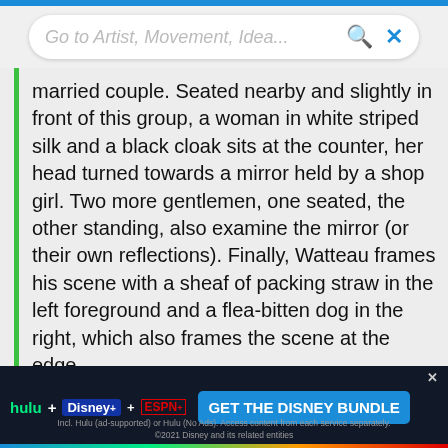Go to Artist, Movement, Idea...
married couple. Seated nearby and slightly in front of this group, a woman in white striped silk and a black cloak sits at the counter, her head turned towards a mirror held by a shop girl. Two more gentlemen, one seated, the other standing, also examine the mirror (or their own reflections). Finally, Watteau frames his scene with a sheaf of packing straw in the left foreground and a flea-bitten dog in the right, which also frames the scene at the edge.
Gersaint's gallery was on the Pont Notre-Dame, where houses above arcades had been built on both sides. His gallery, like all the other ground fl...
[Figure (other): Advertisement banner for Disney Bundle featuring Hulu, Disney+, and ESPN+ logos with 'GET THE DISNEY BUNDLE' call-to-action button]